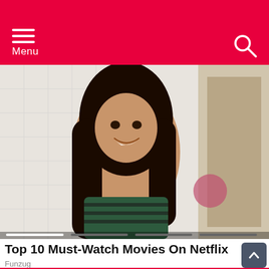Menu
[Figure (photo): Young woman with long dark hair smiling, wearing a striped strapless top, in a bathroom setting with white tiles and gold fixtures]
Top 10 Must-Watch Movies On Netflix
Funzug
[Figure (photo): Partial view of a teal/mint colored background with geometric shapes in red and purple, Netflix-related artwork]